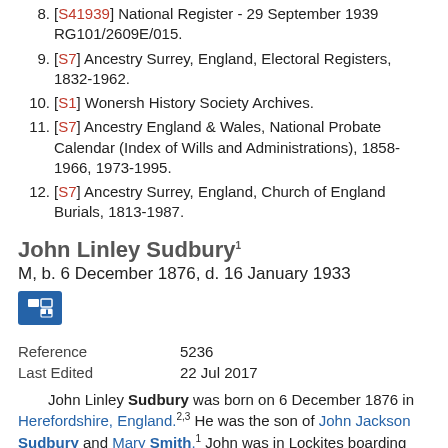[S41939] National Register - 29 September 1939 RG101/2609E/015.
[S7] Ancestry Surrey, England, Electoral Registers, 1832-1962.
[S1] Wonersh History Society Archives.
[S7] Ancestry England & Wales, National Probate Calendar (Index of Wills and Administrations), 1858-1966, 1973-1995.
[S7] Ancestry Surrey, England, Church of England Burials, 1813-1987.
John Linley Sudbury1
M, b. 6 December 1876, d. 16 January 1933
| Field | Value |
| --- | --- |
| Reference | 5236 |
| Last Edited | 22 Jul 2017 |
John Linley Sudbury was born on 6 December 1876 in Herefordshire, England.2,3 He was the son of John Jackson Sudbury and Mary Smith.1 John was in Lockites boarding house in the Oration Quarter (Autumn Term) 1890 until the Cricket Quarter (Summer Term)1892 at Charterhouse School in Godalming. He trained to be a solicitor but did not